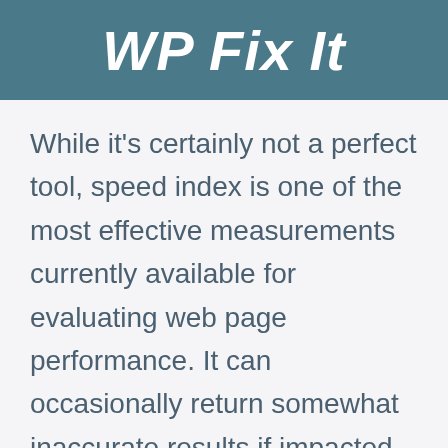WP Fix It
While it's certainly not a perfect tool, speed index is one of the most effective measurements currently available for evaluating web page performance. It can occasionally return somewhat inaccurate results if impacted by certain site components such as GIF's, carousels, and